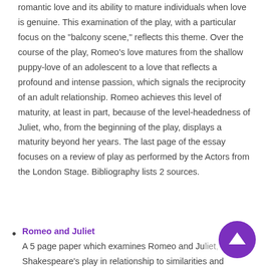romantic love and its ability to mature individuals when love is genuine. This examination of the play, with a particular focus on the "balcony scene," reflects this theme. Over the course of the play, Romeo's love matures from the shallow puppy-love of an adolescent to a love that reflects a profound and intense passion, which signals the reciprocity of an adult relationship. Romeo achieves this level of maturity, at least in part, because of the level-headedness of Juliet, who, from the beginning of the play, displays a maturity beyond her years. The last page of the essay focuses on a review of play as performed by the Actors from the London Stage. Bibliography lists 2 sources.
Romeo and Juliet
A 5 page paper which examines Romeo and Juliet, Shakespeare's play in relation to similarities and